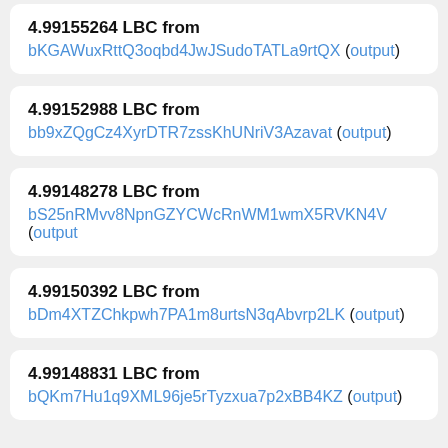4.99155264 LBC from bKGAWuxRttQ3oqbd4JwJSudoTATLa9rtQX (output)
4.99152988 LBC from bb9xZQgCz4XyrDTR7zssKhUNriV3Azavat (output)
4.99148278 LBC from bS25nRMvv8NpnGZYCWcRnWM1wmX5RVKN4V (output
4.99150392 LBC from bDm4XTZChkpwh7PA1m8urtsN3qAbvrp2LK (output)
4.99148831 LBC from bQKm7Hu1q9XML96je5rTyzxua7p2xBB4KZ (output)